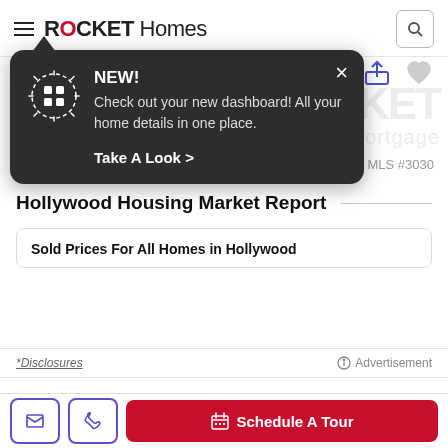Rocket Homes
[Figure (screenshot): Rocket Homes app screenshot showing a tooltip popup with NEW! message about the dashboard, overlaid on a property listing page with price, address, share icon, heart icon, Rocket Mortgage watermark, disclosures bar, Hollywood Housing Market Report section, Sold Prices For All Homes in Hollywood card, and bottom navigation bar with phone, email, and Schedule A Tour button.]
NEW!
Check out your new dashboard! All your home details in one place.
Take A Look >
*Disclosures
Advertisement
Hollywood Housing Market Report
Sold Prices For All Homes in Hollywood
Schedule A Tour